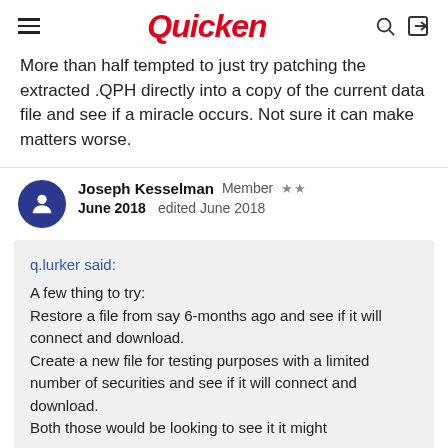Quicken
More than half tempted to just try patching the extracted .QPH directly into a copy of the current data file and see if a miracle occurs. Not sure it can make matters worse.
Joseph Kesselman  Member ★★
June 2018  edited June 2018
q.lurker said:

A few thing to try:
Restore a file from say 6-months ago and see if it will connect and download.
Create a new file for testing purposes with a limited number of securities and see if it will connect and download.
Both those would be looking to see it it might